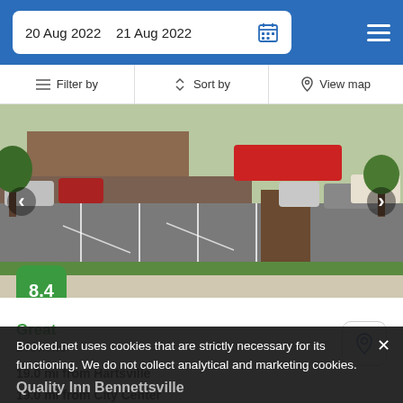20 Aug 2022  21 Aug 2022
Filter by  Sort by  View map
[Figure (photo): Hotel exterior photo showing parking lot, grass lawn, brick sign monument, and building facade]
8.4
Great
2 reviews
19.0 mi from Hartsville
19.0 mi from City Center
Offering convenient proximity to Drs. Bruce & Lee Foundation Library, the hotel is also close to Florence Civic Center.
from us$ 80/night  SELECT
Booked.net uses cookies that are strictly necessary for its functioning. We do not collect analytical and marketing cookies.
Quality Inn Bennettsville